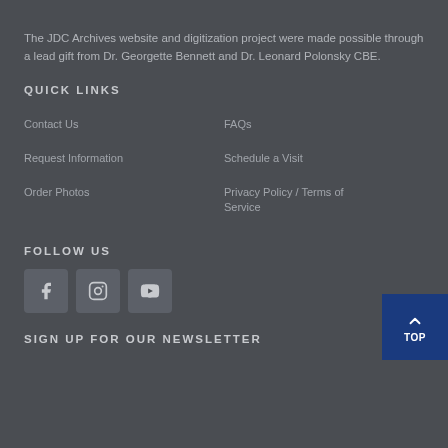The JDC Archives website and digitization project were made possible through a lead gift from Dr. Georgette Bennett and Dr. Leonard Polonsky CBE.
QUICK LINKS
Contact Us
FAQs
Request Information
Schedule a Visit
Order Photos
Privacy Policy / Terms of Service
FOLLOW US
[Figure (illustration): Three social media icons: Facebook, Instagram, YouTube]
SIGN UP FOR OUR NEWSLETTER